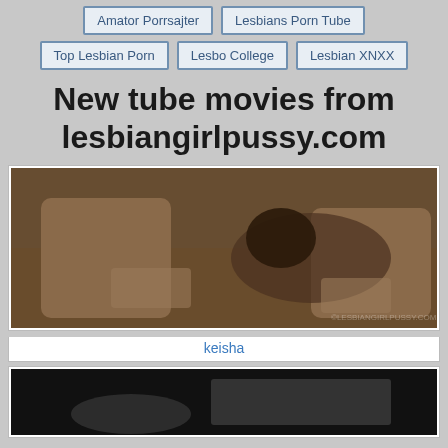Amator Porrsajter
Lesbians Porn Tube
Top Lesbian Porn
Lesbo College
Lesbian XNXX
New tube movies from lesbiangirlpussy.com
[Figure (photo): Video thumbnail showing a person on a couch]
keisha
[Figure (photo): Second video thumbnail, dark scene]